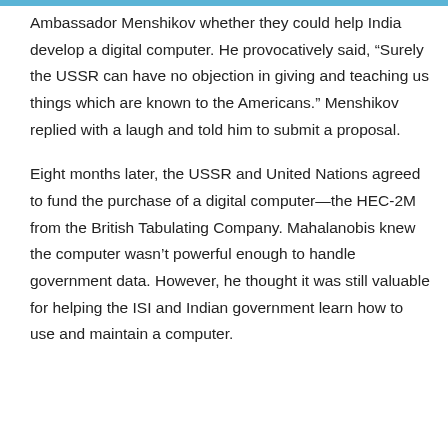Ambassador Menshikov whether they could help India develop a digital computer. He provocatively said, “Surely the USSR can have no objection in giving and teaching us things which are known to the Americans.” Menshikov replied with a laugh and told him to submit a proposal.
Eight months later, the USSR and United Nations agreed to fund the purchase of a digital computer—the HEC-2M from the British Tabulating Company. Mahalanobis knew the computer wasn’t powerful enough to handle government data. However, he thought it was still valuable for helping the ISI and Indian government learn how to use and maintain a computer.